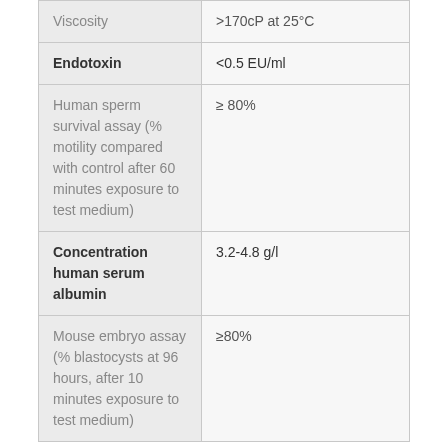| Property | Value |
| --- | --- |
| Viscosity | >170cP at 25°C |
| Endotoxin | <0.5 EU/ml |
| Human sperm survival assay (% motility compared with control after 60 minutes exposure to test medium) | ≥ 80% |
| Concentration human serum albumin | 3.2-4.8 g/l |
| Mouse embryo assay (% blastocysts at 96 hours, after 10 minutes exposure to test medium) | ≥80% |